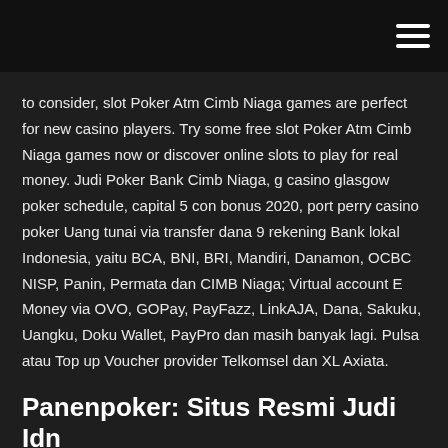to consider, slot Poker Atm Cimb Niaga games are perfect for new casino players. Try some free slot Poker Atm Cimb Niaga games now or discover online slots to play for real money. Judi Poker Bank Cimb Niaga, g casino glasgow poker schedule, capital 5 con bonus 2020, port perry casino poker Uang tunai via transfer dana 9 rekening Bank lokal Indonesia, yaitu BCA, BNI, BRI, Mandiri, Danamon, OCBC NISP, Panin, Permata dan CIMB Niaga; Virtual account E Money via OVO, GOPay, PayFazz, LinkAJA, Dana, Sakuku, Uangku, Doku Wallet, PayPro dan masih banyak lagi. Pulsa atau Top up Voucher provider Telkomsel dan XL Axiata.
Panenpoker: Situs Resmi Judi Idn Poker Online Uang Asli